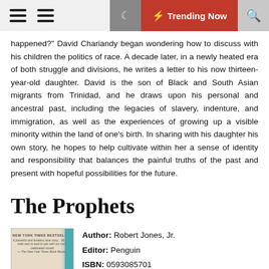Trending Now
happened?" David Chariandy began wondering how to discuss with his children the politics of race. A decade later, in a newly heated era of both struggle and divisions, he writes a letter to his now thirteen-year-old daughter. David is the son of Black and South Asian migrants from Trinidad, and he draws upon his personal and ancestral past, including the legacies of slavery, indenture, and immigration, as well as the experiences of growing up a visible minority within the land of one's birth. In sharing with his daughter his own story, he hopes to help cultivate within her a sense of identity and responsibility that balances the painful truths of the past and present with hopeful possibilities for the future.
The Prophets
Author: Robert Jones, Jr.
Editor: Penguin
ISBN: 0593085701
FileSize: 1529kb